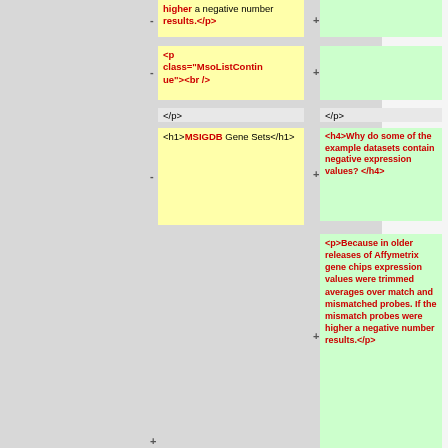higher a negative number results.</p>
<p class="MsoListContinue"><br />
</p>
<h1>MSIGDB Gene Sets</h1>
</p>
<h4>Why do some of the example datasets contain negative expression values?</h4>
<p>Because in older releases of Affymetrix gene chips expression values were trimmed averages over match and mismatched probes. If the mismatch probes were higher a negative number results.</p>
+